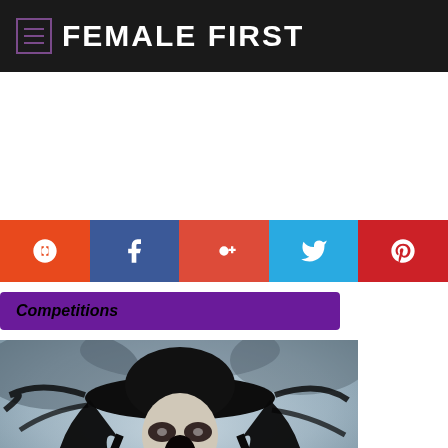FEMALE FIRST
[Figure (photo): Gothic/horror woman with black hat and flowing dark hair, mouth open, against misty blue-grey sky background]
Competitions